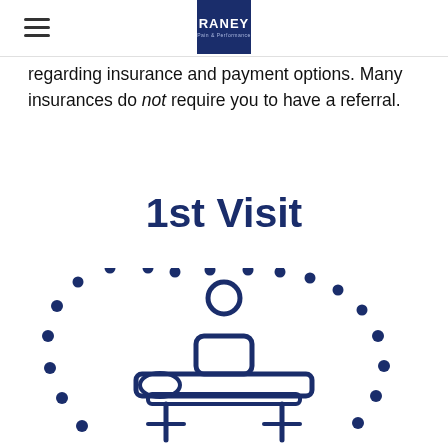RANEY [logo]
regarding insurance and payment options. Many insurances do not require you to have a referral.
1st Visit
[Figure (illustration): Icon of a person receiving a massage on a table, surrounded by a dotted arc pattern in dark blue]